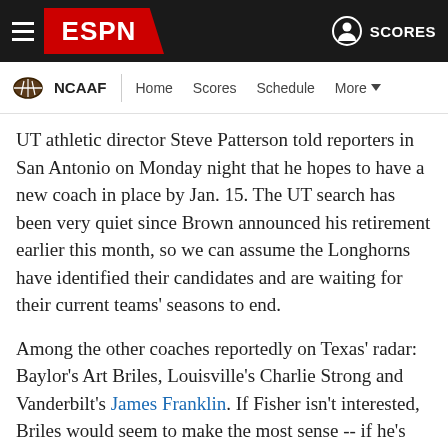ESPN — NCAAF — Home Scores Schedule More
UT athletic director Steve Patterson told reporters in San Antonio on Monday night that he hopes to have a new coach in place by Jan. 15. The UT search has been very quiet since Brown announced his retirement earlier this month, so we can assume the Longhorns have identified their candidates and are waiting for their current teams' seasons to end.
Among the other coaches reportedly on Texas' radar: Baylor's Art Briles, Louisville's Charlie Strong and Vanderbilt's James Franklin. If Fisher isn't interested, Briles would seem to make the most sense -- if he's willing to leave the Bears.
Briles, who also recently agreed to a new contract with his current school, is a former Texas high school coach who knows the state well. His connections in the state might make it easier